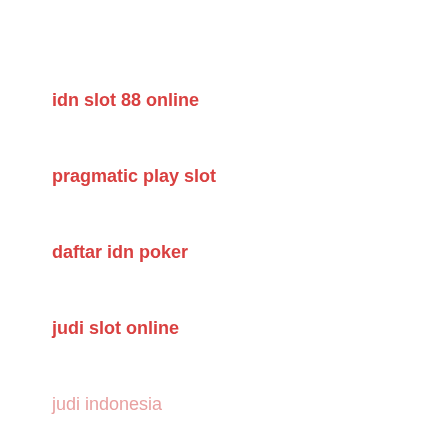idn slot 88 online
pragmatic play slot
daftar idn poker
judi slot online
judi indonesia
idn poker
judi slot